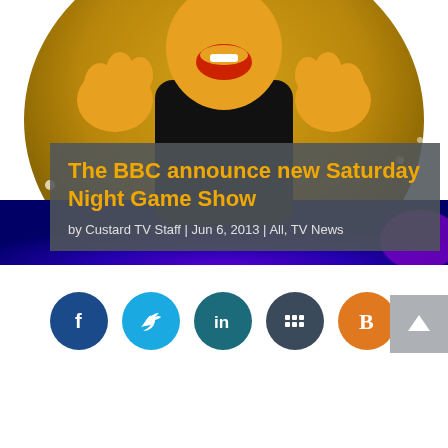[Figure (photo): A colorful TV show promotional image showing a mascot character in a black suit with large yellow hands raised, set against a gold glitter and blue/purple background. Overlaid with a semi-transparent dark grey box containing the article title and byline.]
The BBC announce new Saturday Night Game Show
by Custard TV Staff | Jun 6, 2013 | All, TV News
[Figure (infographic): A row of five social media share buttons as circles: Facebook (dark blue, f icon), Twitter (light blue, bird icon), LinkedIn (teal, in icon), dots/more (dark, grid icon), Blogger (orange, B icon). A grey back-to-top button with an up arrow is on the right.]